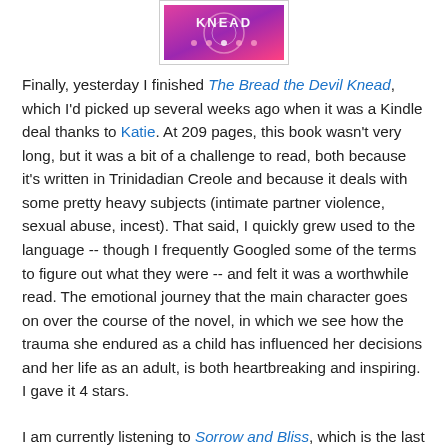[Figure (photo): Book cover image shown partially at top center, with pink/purple colors and partial text visible.]
Finally, yesterday I finished The Bread the Devil Knead, which I'd picked up several weeks ago when it was a Kindle deal thanks to Katie. At 209 pages, this book wasn't very long, but it was a bit of a challenge to read, both because it's written in Trinidadian Creole and because it deals with some pretty heavy subjects (intimate partner violence, sexual abuse, incest). That said, I quickly grew used to the language -- though I frequently Googled some of the terms to figure out what they were -- and felt it was a worthwhile read. The emotional journey that the main character goes on over the course of the novel, in which we see how the trauma she endured as a child has influenced her decisions and her life as an adult, is both heartbreaking and inspiring. I gave it 4 stars.
I am currently listening to Sorrow and Bliss, which is the last title I have left to have read all the finalists for this year's Women's Prize for Fiction. And I am roughly halfway through Tracks, my latest Louise Erdrich, which I'm hoping to finish